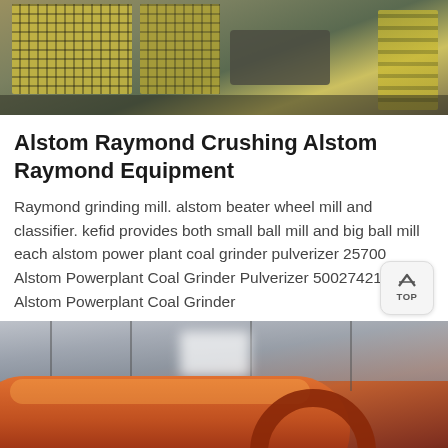[Figure (photo): Industrial machinery photo showing yellow perforated screens, metal conveyor structures, and mechanical equipment in a factory or mining facility]
Alstom Raymond Crushing Alstom Raymond Equipment
Raymond grinding mill. alstom beater wheel mill and classifier. kefid provides both small ball mill and big ball mill each alstom power plant coal grinder pulverizer 25700 Alstom Powerplant Coal Grinder Pulverizer 50027421 eBay. Alstom Powerplant Coal Grinder
[Figure (photo): Industrial photo showing a large orange/red cylindrical ball mill or grinding equipment inside a warehouse/industrial building with metal roof structure visible]